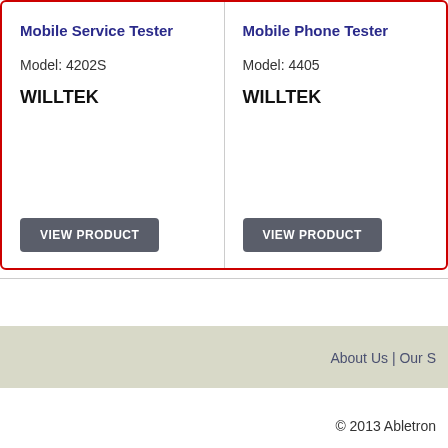Mobile Service Tester
Model: 4202S
WILLTEK
VIEW PRODUCT
Mobile Phone Tester
Model: 4405
WILLTEK
VIEW PRODUCT
About Us  |  Our S
© 2013 Abletron